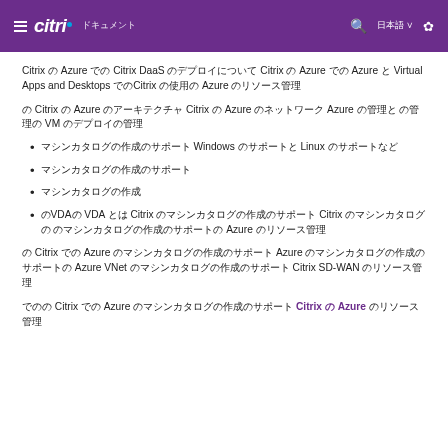citrix
Citrix の Azure での Citrix DaaS のデプロイについて Citrix の Azure での Azure と Virtual Apps and Desktops でのCitrix の使用の Azure のリソース管理
の Citrix の Azure のアーキテクチャ Citrix の Azure のネットワーク Azure の管理と の管理の VM のデプロイの管理
マシンカタログの作成のサポート Windows のサポートと Linux のサポートなど
マシンカタログの作成のサポート
マシンカタログの作成
のVDAの VDA とは Citrix のマシンカタログの作成のサポート Citrix のマシンカタログの のマシンカタログの作成のサポートの Azure のリソース管理
の Citrix での Azure のマシンカタログの作成のサポート Azure のマシンカタログの作成のサポートの Azure VNet のマシンカタログの作成のサポート Citrix SD-WAN のリソース管理
でのの Citrix での Azure のマシンカタログの作成のサポート Citrix の Azure のリソース管理